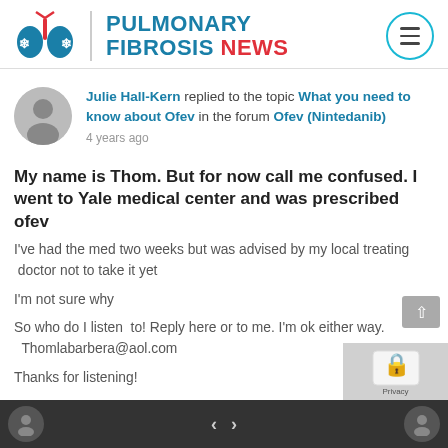[Figure (logo): Pulmonary Fibrosis News logo with lung icon and site name]
Julie Hall-Kern replied to the topic What you need to know about Ofev in the forum Ofev (Nintedanib)
4 years ago
My name is Thom.  But for now call me confused.  I went to Yale medical center and was prescribed ofev
I've had the med two weeks but was advised by my local treating  doctor not to take it yet
I'm not sure why
So who do I listen  to!  Reply here or to me.  I'm ok either way.   Thomlabarbera@aol.com
Thanks for listening!
< >